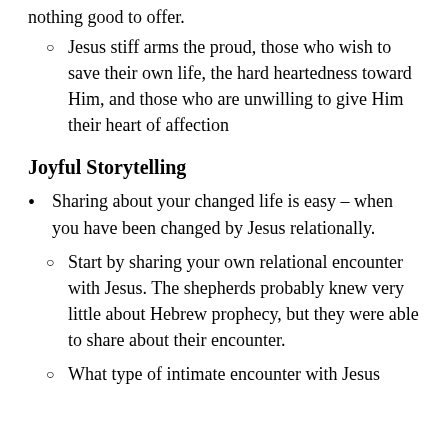nothing good to offer.
Jesus stiff arms the proud, those who wish to save their own life, the hard heartedness toward Him, and those who are unwilling to give Him their heart of affection
Joyful Storytelling
Sharing about your changed life is easy – when you have been changed by Jesus relationally.
Start by sharing your own relational encounter with Jesus. The shepherds probably knew very little about Hebrew prophecy, but they were able to share about their encounter.
What type of intimate encounter with Jesus would you like to share with the aid of a small